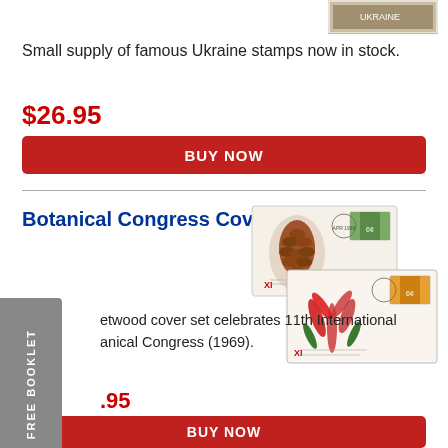[Figure (photo): Partial view of a Ukraine stamp at top right corner]
Small supply of famous Ukraine stamps now in stock.
$26.95
BUY NOW
Botanical Congress Covers
[Figure (photo): Two first-day covers featuring botanical congress stamps with plant illustrations including a pinecone and flowering plants]
etwood cover set celebrates 11th International anical Congress (1969).
FREE BOOKLET
.95
BUY NOW